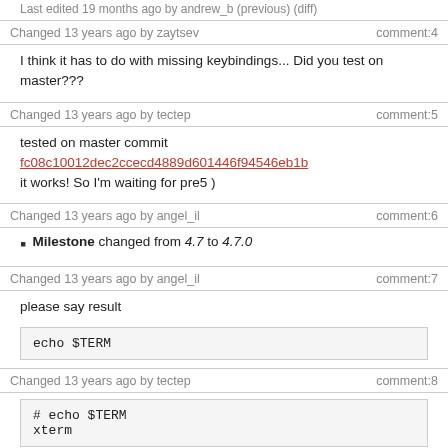Last edited 19 months ago by andrew_b (previous) (diff)
Changed 13 years ago by zaytsev
comment:4
I think it has to do with missing keybindings... Did you test on master???
Changed 13 years ago by tectep
comment:5
tested on master commit
fc08c10012dec2ccecd4889d601446f94546eb1b
it works! So I'm waiting for pre5 )
Changed 13 years ago by angel_il
comment:6
Milestone changed from 4.7 to 4.7.0
Changed 13 years ago by angel_il
comment:7
please say result
echo $TERM
Changed 13 years ago by tectep
comment:8
# echo $TERM
xterm
Changed 13 years ago by zaytsev
comment:9